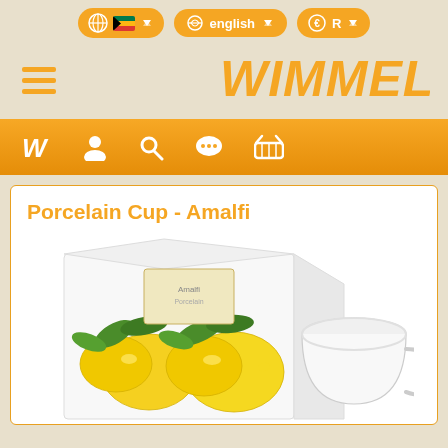Wimmel e-commerce website header with navigation controls: globe/South Africa flag selector, English language selector, currency/R selector
[Figure (logo): WIMMEL brand logo in orange italic bold text with hamburger menu icon on the left]
[Figure (screenshot): Orange navigation bar with icons: W logo, person/account, search, chat/message, shopping basket]
Porcelain Cup - Amalfi
[Figure (photo): Product photo of Porcelain Cup - Amalfi: white box packaging with lemon fruit illustration featuring yellow lemons and green leaves, alongside a white porcelain cup/mug]